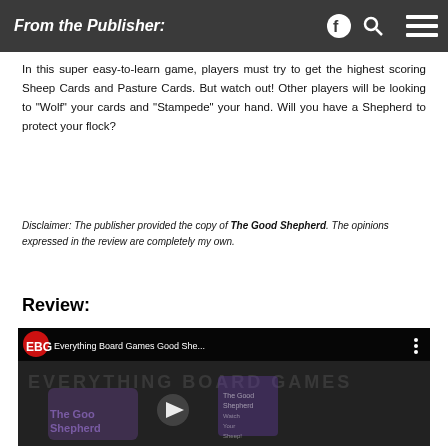From the Publisher:
In this super easy-to-learn game, players must try to get the highest scoring Sheep Cards and Pasture Cards. But watch out! Other players will be looking to “Wolf” your cards and “Stampede” your hand. Will you have a Shepherd to protect your flock?
Disclaimer: The publisher provided the copy of The Good Shepherd. The opinions expressed in the review are completely my own.
Review:
[Figure (screenshot): YouTube video embed showing Everything Board Games review of The Good Shepherd card game. Dark background with channel logo, video title 'Everything Board Games Good She...', three-dot menu, and play button overlay. The Good Shepherd purple logo visible in background.]